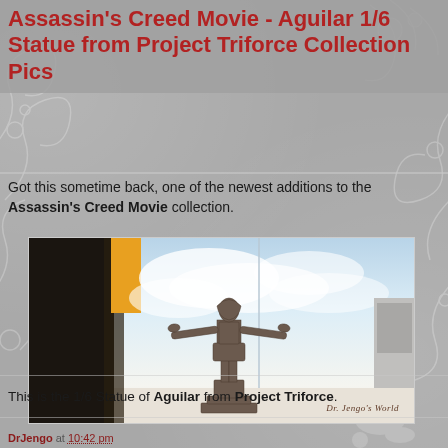Assassin's Creed Movie - Aguilar 1/6 Statue from Project Triforce Collection Pics
Got this sometime back, one of the newest additions to the Assassin's Creed Movie collection.
[Figure (photo): Photo of a bronze-colored 1/6 scale Aguilar statue from Project Triforce, posed with arms outstretched, standing on a square base, displayed in front of a sky-backdrop display panel. Watermark reads 'Dr. Jengo's World'.]
This is the 1/6 Statue of Aguilar from Project Triforce.
DrJengo at 10:42 pm